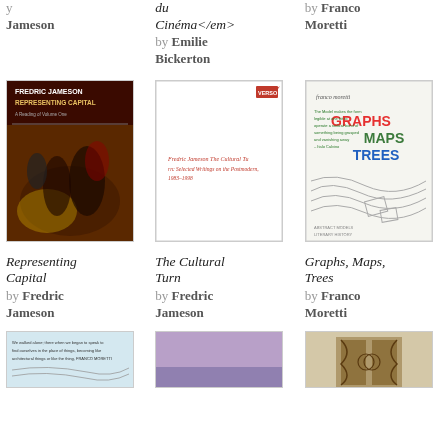by Jameson
du Cinéma</em> by Emilie Bickerton
by Franco Moretti
[Figure (photo): Book cover of Representing Capital by Fredric Jameson]
[Figure (photo): Book cover of The Cultural Turn by Fredric Jameson]
[Figure (photo): Book cover of Graphs, Maps, Trees by Franco Moretti]
Representing Capital by Fredric Jameson
The Cultural Turn by Fredric Jameson
Graphs, Maps, Trees by Franco Moretti
[Figure (photo): Bottom book cover 1]
[Figure (photo): Bottom book cover 2 (purple)]
[Figure (photo): Bottom book cover 3 (door/building)]